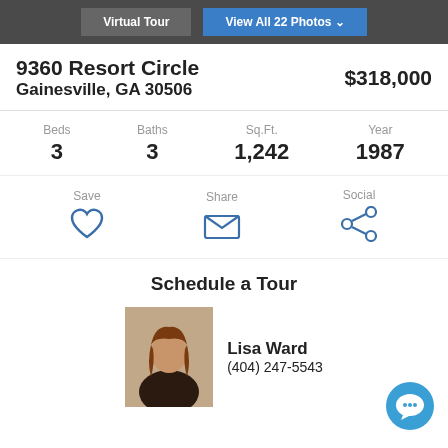Virtual Tour | View All 22 Photos
9360 Resort Circle
Gainesville, GA 30506
$318,000
Beds 3 | Baths 3 | Sq.Ft. 1,242 | Year 1987
Save | Share | Social
Schedule a Tour
Lisa Ward
(404) 247-5543